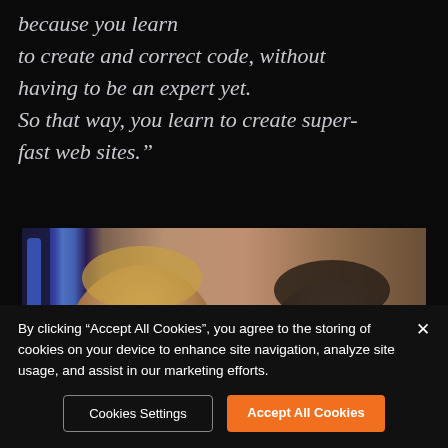because you learn to create and correct code, without having to be an expert yet. So that way, you learn to create super-fast web sites."
[Figure (photo): Two people photographed from the shoulders up against a dark background with a blue light visible on the left side]
By clicking "Accept All Cookies", you agree to the storing of cookies on your device to enhance site navigation, analyze site usage, and assist in our marketing efforts.
Cookies Settings
Accept All Cookies